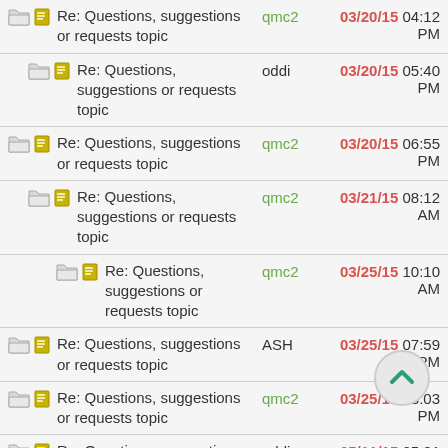Re: Questions, suggestions or requests topic | qmc2 | 03/20/15 04:12 PM
Re: Questions, suggestions or requests topic | oddi | 03/20/15 05:40 PM
Re: Questions, suggestions or requests topic | qmc2 | 03/20/15 06:55 PM
Re: Questions, suggestions or requests topic | qmc2 | 03/21/15 08:12 AM
Re: Questions, suggestions or requests topic | qmc2 | 03/25/15 10:10 AM
Re: Questions, suggestions or requests topic | ASH | 03/25/15 07:59 PM
Re: Questions, suggestions or requests topic | qmc2 | 03/25/15 08:03 PM
Re: Questions, suggestions or requests topic | oddi | 05/11/15 05:01 PM
Re: Questions, suggestions or requests topic | qmc2 | 05/11/15 06:39 PM